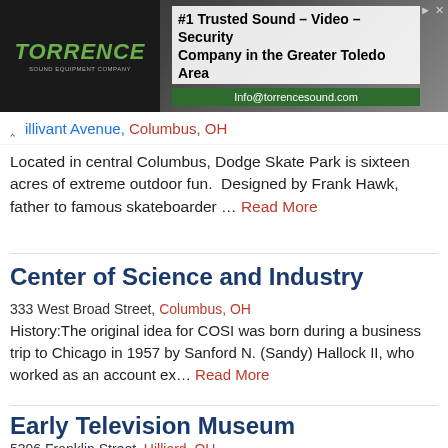[Figure (screenshot): Torrence Sound Equipment Company advertisement banner. Dark background with equipment imagery. Logo text reads TORRENCE in green italic. Tagline: #1 Trusted Sound – Video – Security Company in the Greater Toledo Area. Contact: Info@torrencesound.com]
illivant Avenue, Columbus, OH
Located in central Columbus, Dodge Skate Park is sixteen acres of extreme outdoor fun.  Designed by Frank Hawk, father to famous skateboarder … Read More
Center of Science and Industry
333 West Broad Street, Columbus, OH
History:The original idea for COSI was born during a business trip to Chicago in 1957 by Sanford N. (Sandy) Hallock II, who worked as an account ex… Read More
Early Television Museum
5396 Franklin Street, Hilliard, OH